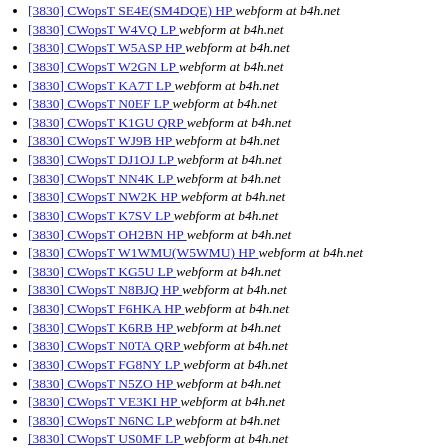[3830] CWopsT SE4E(SM4DQE) HP  webform at b4h.net
[3830] CWopsT W4VQ LP  webform at b4h.net
[3830] CWopsT W5ASP HP  webform at b4h.net
[3830] CWopsT W2GN LP  webform at b4h.net
[3830] CWopsT KA7T LP  webform at b4h.net
[3830] CWopsT N0EF LP  webform at b4h.net
[3830] CWopsT K1GU QRP  webform at b4h.net
[3830] CWopsT WJ9B HP  webform at b4h.net
[3830] CWopsT DJ1OJ LP  webform at b4h.net
[3830] CWopsT NN4K LP  webform at b4h.net
[3830] CWopsT NW2K HP  webform at b4h.net
[3830] CWopsT K7SV LP  webform at b4h.net
[3830] CWopsT OH2BN HP  webform at b4h.net
[3830] CWopsT W1WMU(W5WMU) HP  webform at b4h.net
[3830] CWopsT KG5U LP  webform at b4h.net
[3830] CWopsT N8BJQ HP  webform at b4h.net
[3830] CWopsT F6HKA HP  webform at b4h.net
[3830] CWopsT K6RB HP  webform at b4h.net
[3830] CWopsT N0TA QRP  webform at b4h.net
[3830] CWopsT FG8NY LP  webform at b4h.net
[3830] CWopsT N5ZO HP  webform at b4h.net
[3830] CWopsT VE3KI HP  webform at b4h.net
[3830] CWopsT N6NC LP  webform at b4h.net
[3830] CWopsT US0MF LP  webform at b4h.net
[3830] CWopsT ... LP  webform at b4h.net